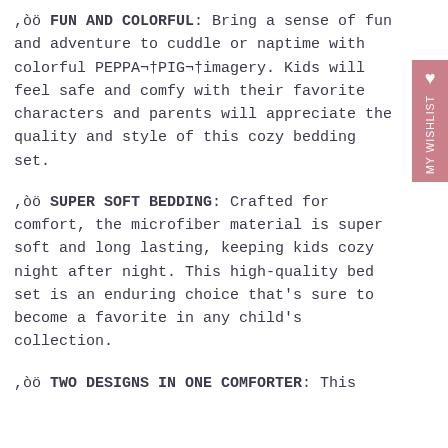,òö FUN AND COLORFUL: Bring a sense of fun and adventure to cuddle or naptime with colorful PEPPA¬†PIG¬†imagery. Kids will feel safe and comfy with their favorite characters and parents will appreciate the quality and style of this cozy bedding set.
,òö SUPER SOFT BEDDING: Crafted for comfort, the microfiber material is super soft and long lasting, keeping kids cozy night after night. This high-quality bed set is an enduring choice that's sure to become a favorite in any child's collection.
,òö TWO DESIGNS IN ONE COMFORTER: This